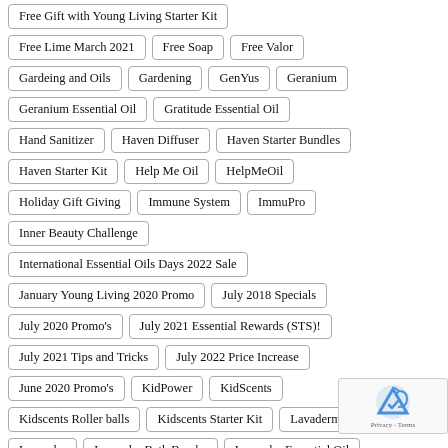Free Gift with Young Living Starter Kit
Free Lime March 2021
Free Soap
Free Valor
Gardeing and Oils
Gardening
GenYus
Geranium
Geranium Essential Oil
Gratitude Essential Oil
Hand Sanitizer
Haven Diffuser
Haven Starter Bundles
Haven Starter Kit
Help Me Oil
HelpMeOil
Holiday Gift Giving
Immune System
ImmuPro
Inner Beauty Challenge
International Essential Oils Days 2022 Sale
January Young Living 2020 Promo
July 2018 Specials
July 2020 Promo's
July 2021 Essential Rewards (STS)!
July 2021 Tips and Tricks
July 2022 Price Increase
June 2020 Promo's
KidPower
KidScents
Kidscents Roller balls
Kidscents Starter Kit
Lavaderm
Lavender
Lavender Bath Bombs
Lavender Essential Oil